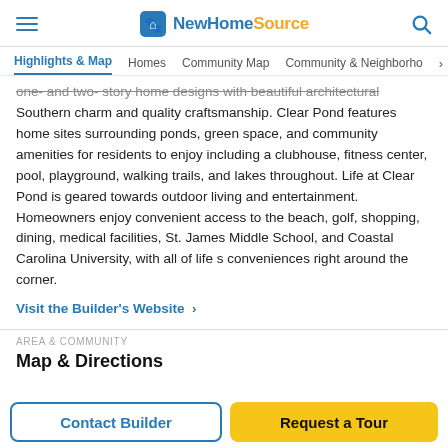NewHomeSource
Highlights & Map | Homes | Community Map | Community & Neighborhood
one- and two- story home designs with beautiful architectural Southern charm and quality craftsmanship. Clear Pond features home sites surrounding ponds, green space, and community amenities for residents to enjoy including a clubhouse, fitness center, pool, playground, walking trails, and lakes throughout. Life at Clear Pond is geared towards outdoor living and entertainment. Homeowners enjoy convenient access to the beach, golf, shopping, dining, medical facilities, St. James Middle School, and Coastal Carolina University, with all of life s conveniences right around the corner.
Visit the Builder's Website >
AREA & COMMUNITY
Map & Directions
Contact Builder
Request a Tour